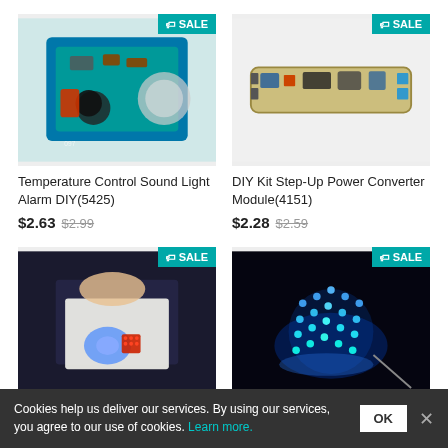[Figure (photo): Blue circuit board with components - Temperature Control Sound Light Alarm DIY with SALE badge]
Temperature Control Sound Light Alarm DIY(5425)
$2.63 $2.99
[Figure (photo): Small PCB module - DIY Kit Step-Up Power Converter Module with SALE badge]
DIY Kit Step-Up Power Converter Module(4151)
$2.28 $2.59
[Figure (photo): Hand holding breadboard with blue and red LEDs - Red Blue Flashing Light DIY with SALE badge]
Red Blue Flashing Light DIY
$2.6
[Figure (photo): Illuminated 4x4x4 LED light cube glowing blue with SALE badge]
Icstation 4X4X4 Light Cube
Cookies help us deliver our services. By using our services, you agree to our use of cookies. Learn more. OK